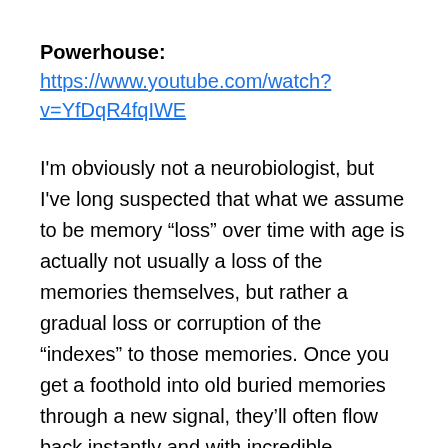Powerhouse: https://www.youtube.com/watch?v=YfDqR4fqIWE
I'm obviously not a neurobiologist, but I've long suspected that what we assume to be memory “loss” over time with age is actually not usually a loss of the memories themselves, but rather a gradual loss or corruption of the “indexes” to those memories. Once you get a foothold into old buried memories through a new signal, they’ll often flow back instantly and with incredible accuracy. They were there all along!